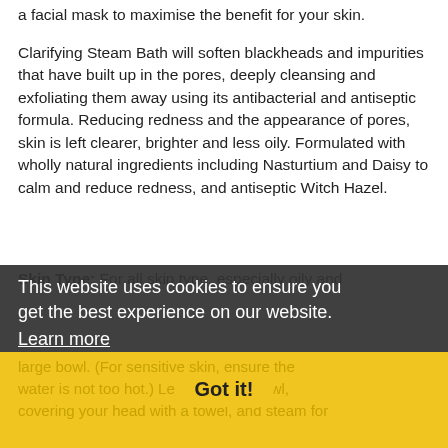a facial mask to maximise the benefit for your skin.
Clarifying Steam Bath will soften blackheads and impurities that have built up in the pores, deeply cleansing and exfoliating them away using its antibacterial and antiseptic formula. Reducing redness and the appearance of pores, skin is left clearer, brighter and less oily. Formulated with wholly natural ingredients including Nasturtium and Daisy to calm and reduce redness, and antiseptic Witch Hazel.
Skin Type: For all skin type, especially oily and
This website uses cookies to ensure you get the best experience on our website. Learn more
Application: Once or twice each week, dilute 2 tablespoons of Clarifying Steam Bath with approx. 1/2 litre (1 pint) of steaming water in a large bowl. (For sensitive skin, ensure the water is not too hot.) Lean over the bowl, covering your head with a towel, and steam for
Got it!